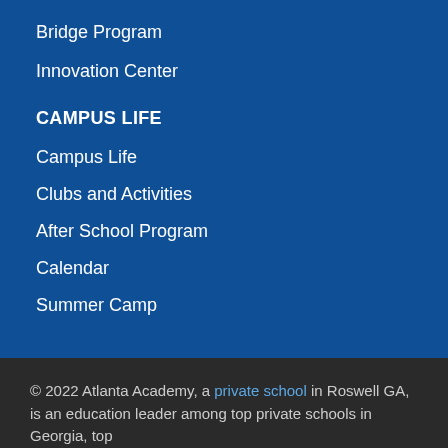Bridge Program
Innovation Center
CAMPUS LIFE
Campus Life
Clubs and Activities
After School Program
Calendar
Summer Camp
© 2022 Atlanta Academy, a private school in Roswell GA, is an education leader among top private schools in Georgia, top